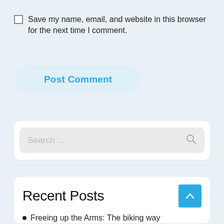Save my name, email, and website in this browser for the next time I comment.
Post Comment
[Figure (screenshot): Search input box with placeholder text 'Search ...' and a search icon on the right]
Recent Posts
Freeing up the Arms: The biking way